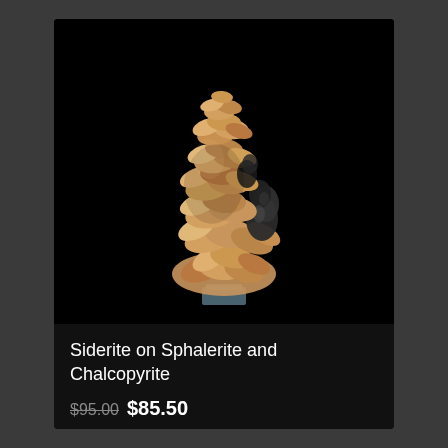[Figure (photo): A mineral specimen of Siderite on Sphalerite and Chalcopyrite, showing tan/brown layered rosette crystals with dark metallic inclusions, displayed on a small clear acrylic stand against a pure black background.]
Siderite on Sphalerite and Chalcopyrite
$95.00 $85.50